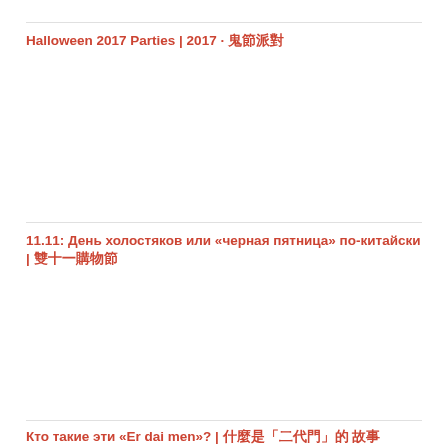Halloween 2017 Parties | 2017 · 鬼節派對
11.11: День холостяков или «черная пятница» по-китайски | 雙十一的購物節
Кто такие эти «Er dai men»? | 什麼是「二」的定義